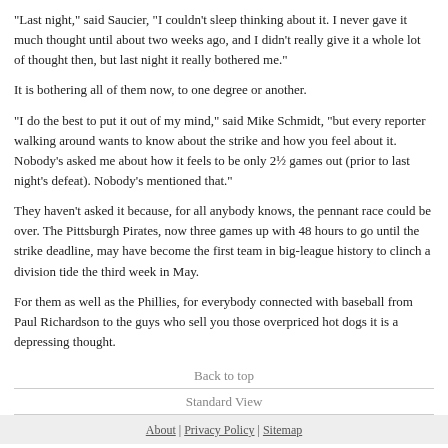"Last night," said Saucier, "I couldn't sleep thinking about it. I never gave it much thought until about two weeks ago, and I didn't really give it a whole lot of thought then, but last night it really bothered me."
It is bothering all of them now, to one degree or another.
"I do the best to put it out of my mind," said Mike Schmidt, "but every reporter walking around wants to know about the strike and how you feel about it. Nobody's asked me about how it feels to be only 2½ games out (prior to last night's defeat). Nobody's mentioned that."
They haven't asked it because, for all anybody knows, the pennant race could be over. The Pittsburgh Pirates, now three games up with 48 hours to go until the strike deadline, may have become the first team in big-league history to clinch a division tide the third week in May.
For them as well as the Phillies, for everybody connected with baseball from Paul Richardson to the guys who sell you those overpriced hot dogs it is a depressing thought.
Back to top
Standard View
About | Privacy Policy | Sitemap